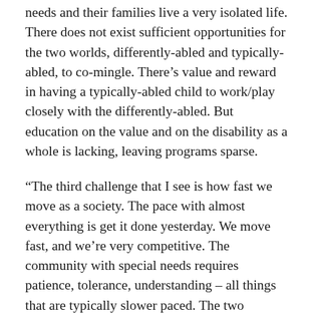needs and their families live a very isolated life. There does not exist sufficient opportunities for the two worlds, differently-abled and typically-abled, to co-mingle. There’s value and reward in having a typically-abled child to work/play closely with the differently-abled. But education on the value and on the disability as a whole is lacking, leaving programs sparse.
“The third challenge that I see is how fast we move as a society. The pace with almost everything is get it done yesterday. We move fast, and we’re very competitive. The community with special needs requires patience, tolerance, understanding – all things that are typically slower paced. The two rhythms just do not jive.”
I am so impressed by Alyssa’s maturity and understanding of these issues. Her family has a deep